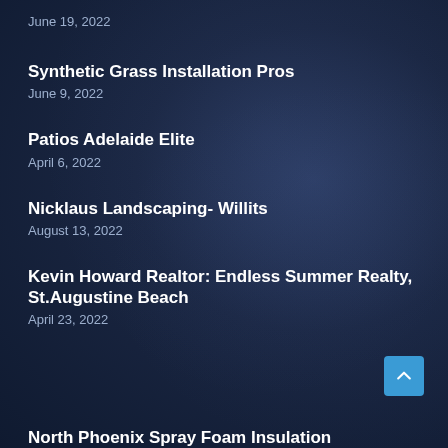June 19, 2022
Synthetic Grass Installation Pros
June 9, 2022
Patios Adelaide Elite
April 6, 2022
Nicklaus Landscaping- Willits
August 13, 2022
Kevin Howard Realtor: Endless Summer Realty, St.Augustine Beach
April 23, 2022
North Phoenix Spray Foam Insulation